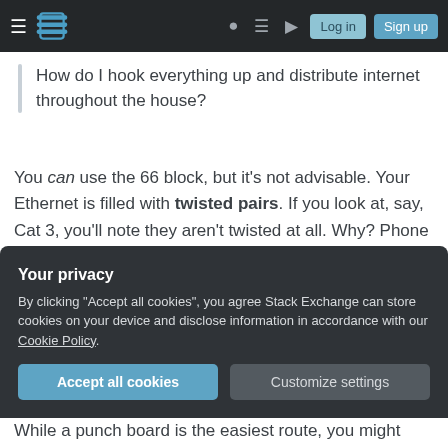Stack Exchange navigation bar with Log in and Sign up buttons
How do I hook everything up and distribute internet throughout the house?
You can use the 66 block, but it's not advisable. Your Ethernet is filled with twisted pairs. If you look at, say, Cat 3, you'll note they aren't twisted at all. Why? Phone lines aren't concerned with something Ethernet is: shielding. Untwisting the wires and peeling back the insulation has reduced the shielding of those wires. Ethernet is more susceptible to interference than phone. The 66
Your privacy
By clicking "Accept all cookies", you agree Stack Exchange can store cookies on your device and disclose information in accordance with our Cookie Policy.
While a punch board is the easiest route, you might